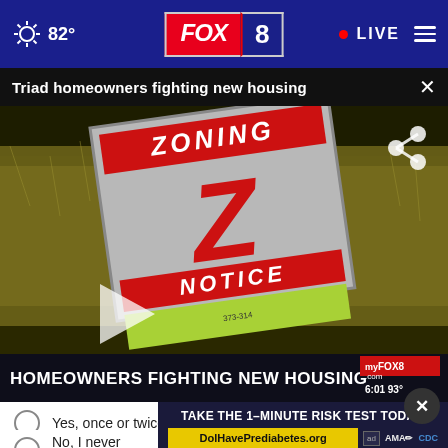82° FOX 8 LIVE
Triad homeowners fighting new housing
[Figure (screenshot): FOX 8 news video screenshot showing a Zoning Notice sign in a field of tall grass. Text overlay at bottom: HOMEOWNERS FIGHTING NEW HOUSING. Bottom-right badge shows myFOX8.com, 6:01, 93°. A play button triangle is visible on the left center. A share icon appears in the upper right.]
Yes, once or twice
No, I never have
TAKE THE 1-MINUTE RISK TEST TODAY. DolHavePrediabetes.org